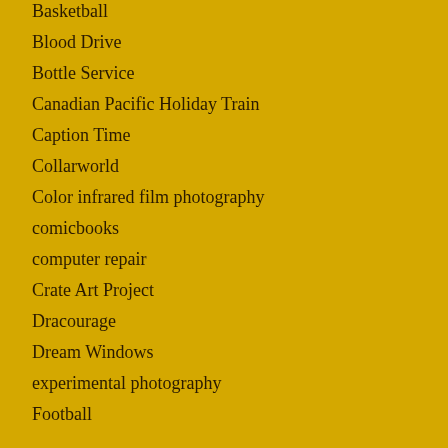Basketball
Blood Drive
Bottle Service
Canadian Pacific Holiday Train
Caption Time
Collarworld
Color infrared film photography
comicbooks
computer repair
Crate Art Project
Dracourage
Dream Windows
experimental photography
Football